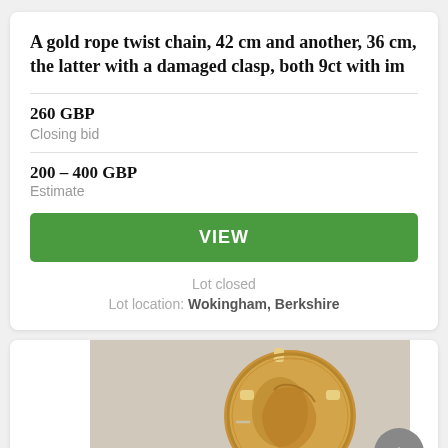A gold rope twist chain, 42 cm and another, 36 cm, the latter with a damaged clasp, both 9ct with im
260 GBP
Closing bid
200 - 400 GBP
Estimate
VIEW
Lot closed
Lot location: Wokingham, Berkshire
[Figure (photo): A gold coin showing a portrait profile of a figure, mounted as a brooch with gold setting, photographed against a light grey background.]